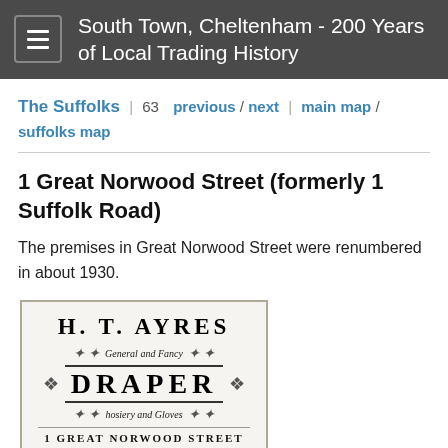South Town, Cheltenham - 200 Years of Local Trading History
The Suffolks | 63  previous / next | main map / suffolks map
1 Great Norwood Street (formerly 1 Suffolk Road)
The premises in Great Norwood Street were renumbered in about 1930.
[Figure (illustration): Victorian trade card for H. T. Ayres, General and Fancy Draper, Hosiery and Gloves, 1 Great Norwood Street]